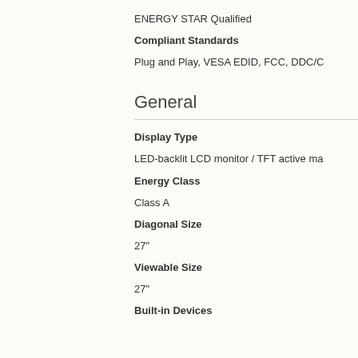ENERGY STAR Qualified
Compliant Standards
Plug and Play, VESA EDID, FCC, DDC/C
General
Display Type
LED-backlit LCD monitor / TFT active ma
Energy Class
Class A
Diagonal Size
27"
Viewable Size
27"
Built-in Devices